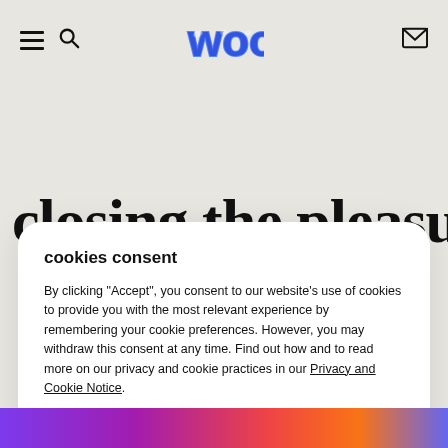Navigation bar with hamburger menu, search icon, Woo logo, and mail icon
closing the pleasure
cookies consent
By clicking "Accept", you consent to our website's use of cookies to provide you with the most relevant experience by remembering your cookie preferences. However, you may withdraw this consent at any time. Find out how and to read more on our privacy and cookie practices in our Privacy and Cookie Notice.
[Figure (illustration): Woo logo in blue bubble/balloon lettering style]
[Figure (illustration): Bottom colorful gradient strip in purple, pink, red, orange tones]